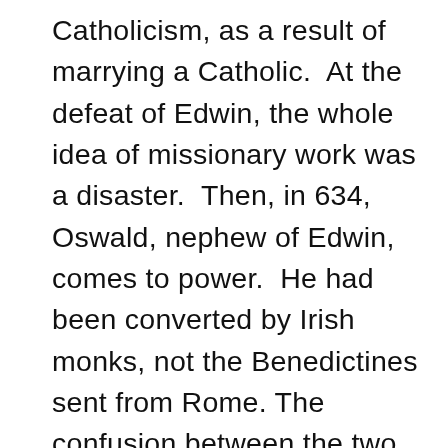Catholicism, as a result of marrying a Catholic.  At the defeat of Edwin, the whole idea of missionary work was a disaster.  Then, in 634, Oswald, nephew of Edwin, comes to power.  He had been converted by Irish monks, not the Benedictines sent from Rome.  The confusion between the two groups of Christians, was cleared in the Synod of Whitby in 664, where the Irish-Benedictine interaction bore the  Northumbrian renaissance, and the issues were settled.